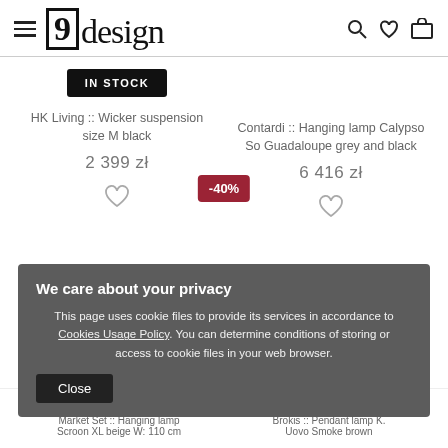9design — navigation header with hamburger menu, logo, search, wishlist, and cart icons
IN STOCK
HK Living :: Wicker suspension size M black
2 399 zł
Contardi :: Hanging lamp Calypso So Guadaloupe grey and black
6 416 zł
-40%
We care about your privacy
This page uses cookie files to provide its services in accordance to Cookies Usage Policy. You can determine conditions of storing or access to cookie files in your web browser.
Close
Market Set :: Hanging lamp Scroon XL beige W: 110 cm
Brokis :: Pendant lamp K Uovo Smoke brown